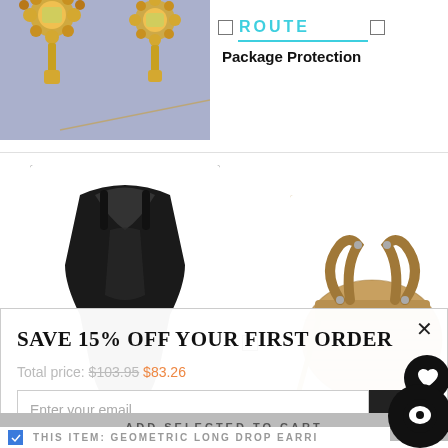[Figure (photo): Ornate gold crystal drop earrings on blue-gray background]
Package Protection
[Figure (photo): Black halter swimsuit/bodysuit on white background]
[Figure (photo): Wicker/straw round handle crossbody bag on white background]
SAVE 15% OFF YOUR FIRST ORDER
Total price: $103.95  $83.26
Enter your email
ADD SELECTED TO CART
THIS ITEM: GEOMETRIC LONG DROP EARRI...